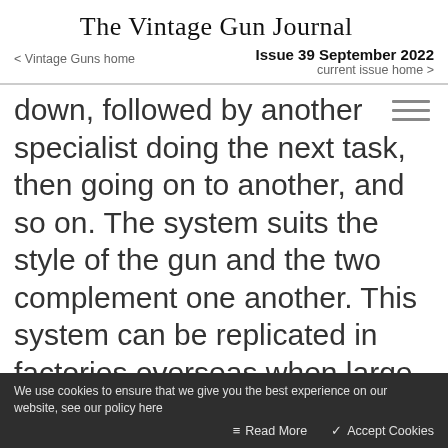The Vintage Gun Journal
Issue 39 September 2022
< Vintage Guns home    current issue home >
down, followed by another specialist doing the next task, then going on to another, and so on. The system suits the style of the gun and the two complement one another. This system can be replicated in factories overseas when large numbers of
We use cookies to ensure that we give you the best experience on our website, see our policy here    Read More    ✓ Accept Cookies